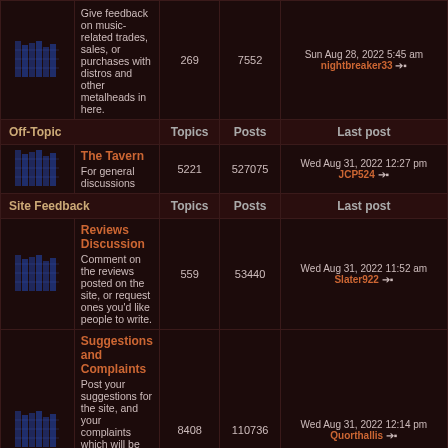|  | Forum | Topics | Posts | Last post |
| --- | --- | --- | --- | --- |
| [icon] | Give feedback on music-related trades, sales, or purchases with distros and other metalheads in here. | 269 | 7552 | Sun Aug 28, 2022 5:45 am nightbreaker33 |
| Off-Topic |  | Topics | Posts | Last post |
| [icon] | The Tavern
For general discussions | 5221 | 527075 | Wed Aug 31, 2022 12:27 pm JCP524 |
| Site Feedback |  | Topics | Posts | Last post |
| [icon] | Reviews Discussion
Comment on the reviews posted on the site, or request ones you'd like people to write. | 559 | 53440 | Wed Aug 31, 2022 11:52 am Slater922 |
| [icon] | Suggestions and Complaints
Post your suggestions for the site, and your complaints which will be ignored... just kidding.
Subforums: Band Appeals, Site-Related Tasks | 8408 | 110736 | Wed Aug 31, 2022 12:14 pm Quorthallis |
Delete all board cookies | The team